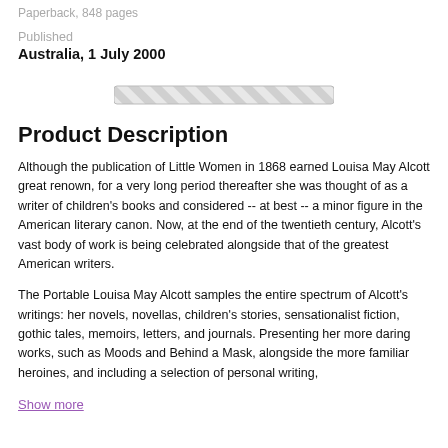Paperback, 848 pages
Published
Australia, 1 July 2000
[Figure (other): A horizontal loading/progress bar with diagonal stripe pattern in grey and white]
Product Description
Although the publication of Little Women in 1868 earned Louisa May Alcott great renown, for a very long period thereafter she was thought of as a writer of children's books and considered -- at best -- a minor figure in the American literary canon. Now, at the end of the twentieth century, Alcott's vast body of work is being celebrated alongside that of the greatest American writers.
The Portable Louisa May Alcott samples the entire spectrum of Alcott's writings: her novels, novellas, children's stories, sensationalist fiction, gothic tales, memoirs, letters, and journals. Presenting her more daring works, such as Moods and Behind a Mask, alongside the more familiar heroines, and including a selection of personal writing,
Show more